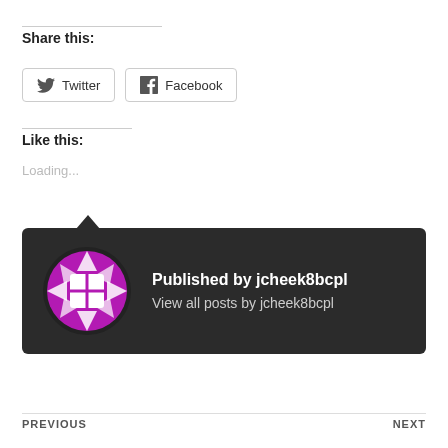Share this:
[Figure (other): Twitter and Facebook share buttons]
Like this:
Loading...
[Figure (other): Author card with dark background showing Published by jcheek8bcpl and View all posts by jcheek8bcpl, with a purple circular avatar logo]
PREVIOUS   NEXT